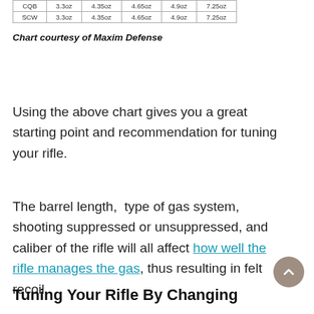| CQB | 3.3oz | 4.35oz | 4.65oz | 4.9oz | 7.25oz |
| SCW | 3.3oz | 4.35oz | 4.65oz | 4.9oz | 7.25oz |
Chart courtesy of Maxim Defense
Using the above chart gives you a great starting point and recommendation for tuning your rifle.
The barrel length, type of gas system, shooting suppressed or unsuppressed, and caliber of the rifle will all affect how well the rifle manages the gas, thus resulting in felt recoil.
Tuning Your Rifle By Changing